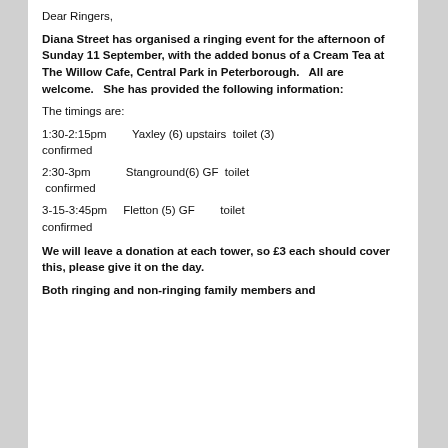Dear Ringers,
Diana Street has organised a ringing event for the afternoon of Sunday 11 September, with the added bonus of a Cream Tea at The Willow Cafe, Central Park in Peterborough.   All are welcome.   She has provided the following information:
The timings are:
1:30-2:15pm        Yaxley (6) upstairs  toilet (3) confirmed
2:30-3pm            Stanground(6) GF  toilet  confirmed
3-15-3:45pm        Fletton (5) GF          toilet confirmed
We will leave a donation at each tower, so £3 each should cover this, please give it on the day.
Both ringing and non-ringing family members and